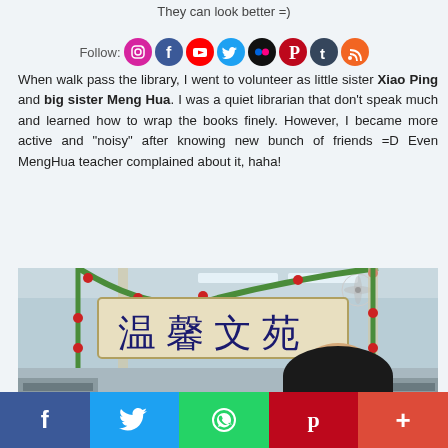They can look better =)
Follow:
When walk pass the library, I went to volunteer as little sister Xiao Ping and big sister Meng Hua. I was a quiet librarian that don't speak much and learned how to wrap the books finely. However, I became more active and "noisy" after knowing new bunch of friends =D Even MengHua teacher complained about it, haha!
[Figure (photo): Photo of a person inside a library/reading room decorated with a Chinese sign reading 温馨文苑, green vines and red berry decorations on an arch, ceiling fan visible, fluorescent lights, person's face partially visible in lower right.]
f  (twitter bird)  (whatsapp)  p  +